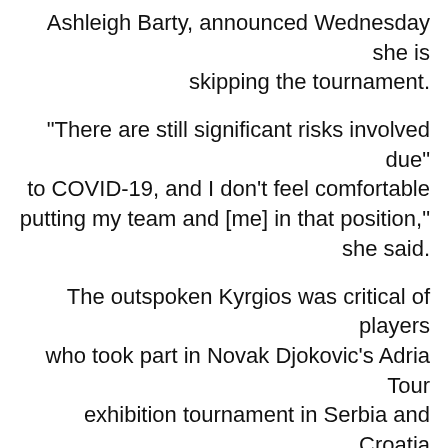Ashleigh Barty, announced Wednesday she is skipping the tournament.
"There are still significant risks involved due to COVID-19, and I don't feel comfortable putting my team and [me] in that position," she said.
The outspoken Kyrgios was critical of players who took part in Novak Djokovic's Adria Tour exhibition tournament in Serbia and Croatia in June.
That tournament was cancelled after numerous players tested positive for the coronavirus, and in the video, he took a shot at them without mentioning names.